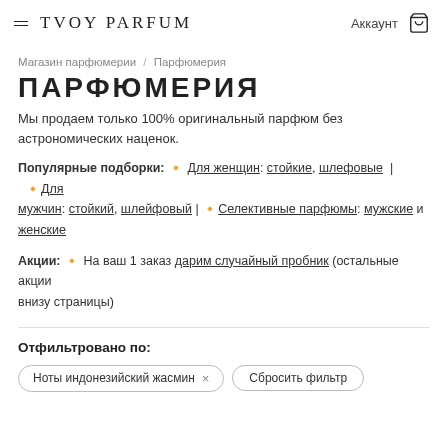≡ TVOY PARFUM   Аккаунт 🛍
Магазин парфюмерии / Парфюмерия
ПАРФЮМЕРИЯ
Мы продаем только 100% оригинальный парфюм без астрономических наценок.
Популярные подборки: 🔸 Для женщин: стойкие, шлефовые | 🔸Для мужчин: стойкий, шлейфовый | 🔸Селективные парфюмы: мужские и женские
Акции: 🔸 На ваш 1 заказ дарим случайный пробник (остальные акции внизу страницы)
Отфильтровано по:
Ноты индонезийский жасмин ×   Сбросить фильтр